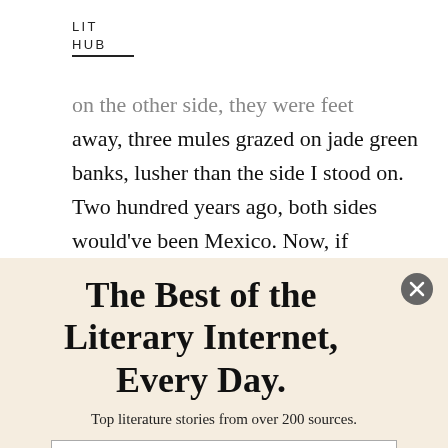LIT
HUB
on the other side, they were feet away, three mules grazed on jade green banks, lusher than the side I stood on. Two hundred years ago, both sides would've been Mexico. Now, if Trump's wall was built, it could cut right through this place, a
The Best of the Literary Internet, Every Day.
Top literature stories from over 200 sources.
SUBSCRIBE